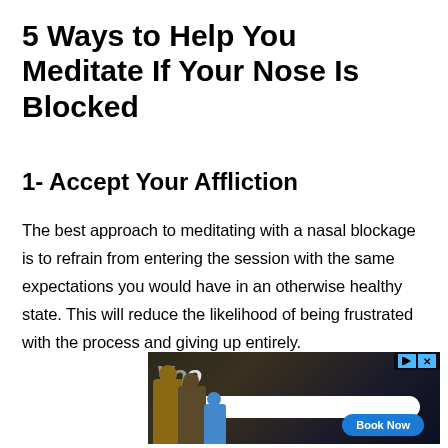5 Ways to Help You Meditate If Your Nose Is Blocked
1- Accept Your Affliction
The best approach to meditating with a nasal blockage is to refrain from entering the session with the same expectations you would have in an otherwise healthy state. This will reduce the likelihood of being frustrated with the process and giving up entirely.
[Figure (other): Advertisement banner showing people loading a car, with a logo, search bar, and Book Now button]